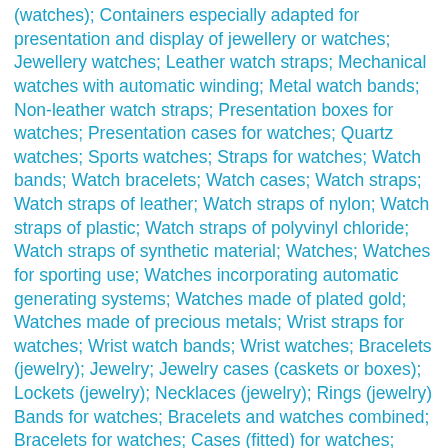(watches); Containers especially adapted for presentation and display of jewellery or watches; Jewellery watches; Leather watch straps; Mechanical watches with automatic winding; Metal watch bands; Non-leather watch straps; Presentation boxes for watches; Presentation cases for watches; Quartz watches; Sports watches; Straps for watches; Watch bands; Watch bracelets; Watch cases; Watch straps; Watch straps of leather; Watch straps of nylon; Watch straps of plastic; Watch straps of polyvinyl chloride; Watch straps of synthetic material; Watches; Watches for sporting use; Watches incorporating automatic generating systems; Watches made of plated gold; Watches made of precious metals; Wrist straps for watches; Wrist watch bands; Wrist watches; Bracelets (jewelry); Jewelry; Jewelry cases (caskets or boxes); Lockets (jewelry); Necklaces (jewelry); Rings (jewelry) Bands for watches; Bracelets and watches combined; Bracelets for watches; Cases (fitted) for watches; Cases for watches (presentation); Cases of precious metals for